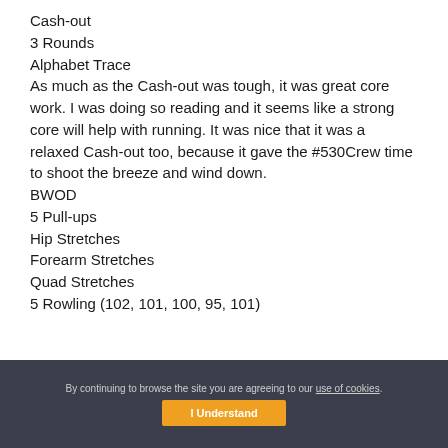Cash-out
3 Rounds
Alphabet Trace
As much as the Cash-out was tough, it was great core work. I was doing so reading and it seems like a strong core will help with running. It was nice that it was a relaxed Cash-out too, because it gave the #530Crew time to shoot the breeze and wind down.
BWOD
5 Pull-ups
Hip Stretches
Forearm Stretches
Quad Stretches
5 Rowling (102, 101, 100, 95, 101)
By continuing to browse the site you are agreeing to our use of cookies. I Understand